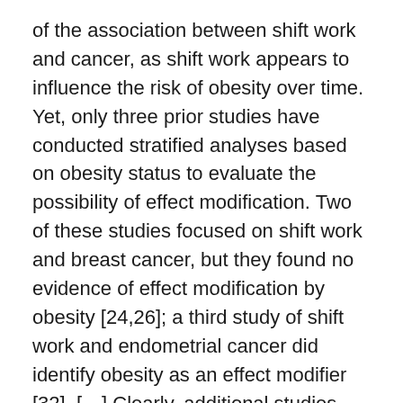of the association between shift work and cancer, as shift work appears to influence the risk of obesity over time. Yet, only three prior studies have conducted stratified analyses based on obesity status to evaluate the possibility of effect modification. Two of these studies focused on shift work and breast cancer, but they found no evidence of effect modification by obesity [24,26]; a third study of shift work and endometrial cancer did identify obesity as an effect modifier [32]. […] Clearly, additional studies need to carefully consider the role of body mass index—a possible confounding factor, but more likely effect modifying factor—in the association between shift work and obesity."
...
I should make clear that although it makes sense to